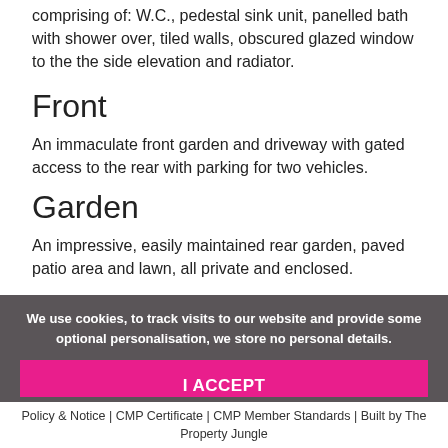comprising of: W.C., pedestal sink unit, panelled bath with shower over, tiled walls, obscured glazed window to the the side elevation and radiator.
Front
An immaculate front garden and driveway with gated access to the rear with parking for two vehicles.
Garden
An impressive, easily maintained rear garden, paved patio area and lawn, all private and enclosed.
We use cookies, to track visits to our website and provide some optional personalisation, we store no personal details.
I ACCEPT
What are cookies?
Policy & Notice | CMP Certificate | CMP Member Standards | Built by The Property Jungle